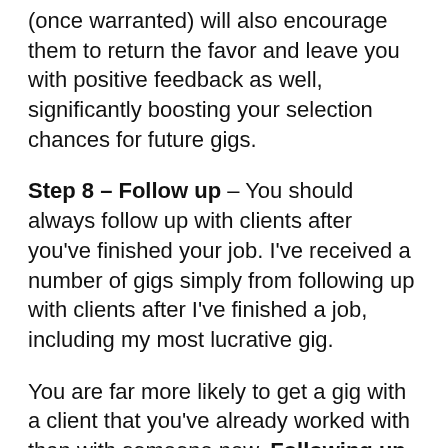(once warranted) will also encourage them to return the favor and leave you with positive feedback as well, significantly boosting your selection chances for future gigs.
Step 8 – Follow up – You should always follow up with clients after you've finished your job. I've received a number of gigs simply from following up with clients after I've finished a job, including my most lucrative gig.
You are far more likely to get a gig with a client that you've already worked with than with someone new. Following up is pretty simple – just shoot your client a message/email a few weeks later asking